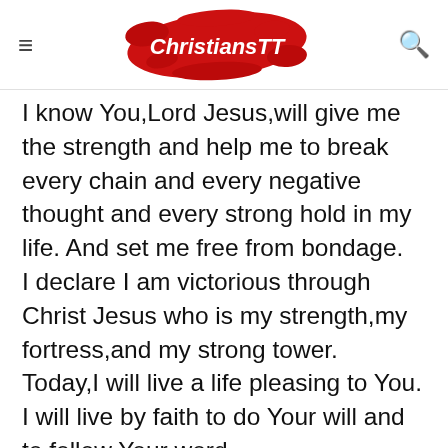ChristiansTT
I know You,Lord Jesus,will give me the strength and help me to break every chain and every negative thought and every strong hold in my life. And set me free from bondage.
I declare I am victorious through Christ Jesus who is my strength,my fortress,and my strong tower.
Today,I will live a life pleasing to You.
I will live by faith to do Your will and to follow Your word.
Thank You Lord Jesus for You always